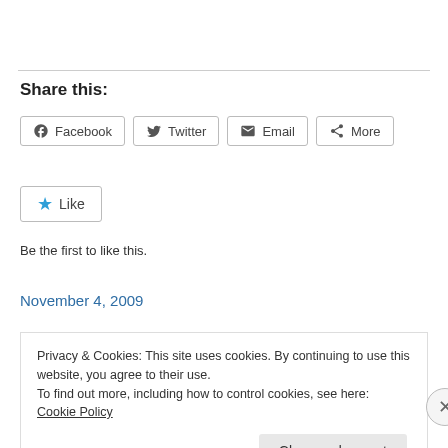Share this:
[Figure (other): Social share buttons: Facebook, Twitter, Email, More]
[Figure (other): Like button with star icon]
Be the first to like this.
November 4, 2009
Privacy & Cookies: This site uses cookies. By continuing to use this website, you agree to their use.
To find out more, including how to control cookies, see here: Cookie Policy